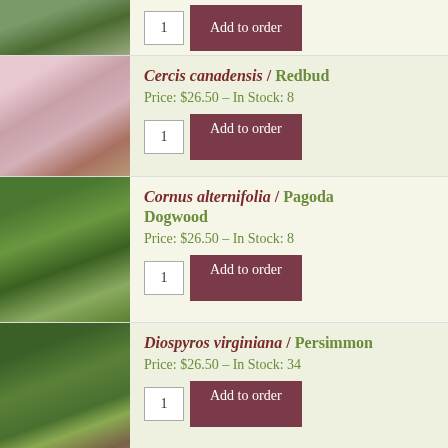[Figure (photo): Top partial row: outdoor scene with greenery, partial view of building/pavilion]
1   Add to order
[Figure (photo): Cercis canadensis / Redbud tree with pink blossoms near a building]
Cercis canadensis / Redbud
Price: $26.50 – In Stock: 8
1   Add to order
[Figure (photo): Cornus alternifolia / Pagoda Dogwood showing large green leaves and white flower clusters]
Cornus alternifolia / Pagoda Dogwood
Price: $26.50 – In Stock: 8
1   Add to order
[Figure (photo): Diospyros virginiana / Persimmon large tree with cars in background parking lot]
Diospyros virginiana / Persimmon
Price: $26.50 – In Stock: 34
1   Add to order
[Figure (photo): Fagus grandifolia / American Beech with golden autumn leaves, partial view]
Fagus grandifolia / American Beech